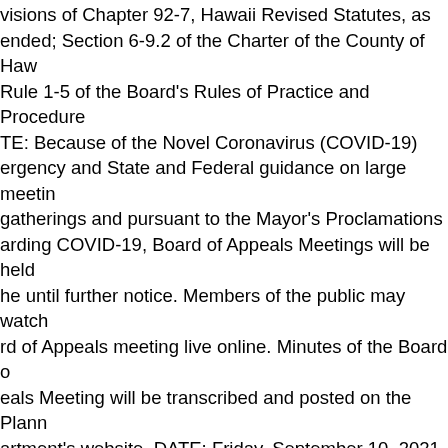visions of Chapter 92-7, Hawaii Revised Statutes, as ended; Section 6-9.2 of the Charter of the County of Haw Rule 1-5 of the Board's Rules of Practice and Procedure TE: Because of the Novel Coronavirus (COVID-19) ergency and State and Federal guidance on large meetin gatherings and pursuant to the Mayor's Proclamations arding COVID-19, Board of Appeals Meetings will be held he until further notice. Members of the public may watch rd of Appeals meeting live online. Minutes of the Board o eals Meeting will be transcribed and posted on the Plann artment's website. DATE: Friday, September 10, 2021 E: 9:00 a.m. PLACE: Board of Appeals Members and ies to BOA Cases will participate in this meeting via the m interactive video conference platform. The public will b e to view and listen to the meeting at: s://www.youtube.com/channel/UCAFoRMb3rfWL0MPd67 SA?view as=subscriber A full schedule of active Board of eals cases can be viewed on the Planning Department's site. This schedule is updated weekly and will reflect nges made subsequent to the publication of this agenda: s://records.hawaiicounty.gov/weblink/Browse.aspx? 1&startid=133403 STATEMENTS FROM THE PUBLI